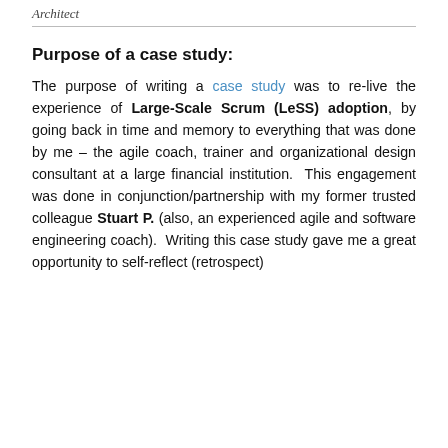Architect
Purpose of a case study:
The purpose of writing a case study was to re-live the experience of Large-Scale Scrum (LeSS) adoption, by going back in time and memory to everything that was done by me – the agile coach, trainer and organizational design consultant at a large financial institution.  This engagement was done in conjunction/partnership with my former trusted colleague Stuart P. (also, an experienced agile and software engineering coach).  Writing this case study gave me a great opportunity to self-reflect (retrospect)